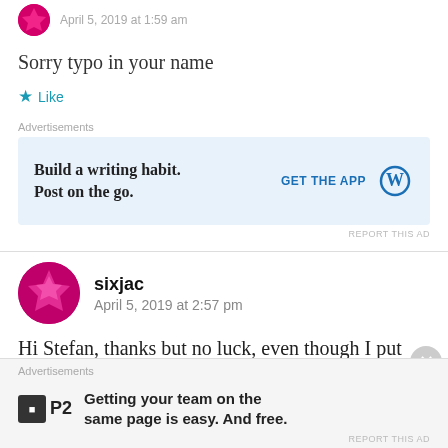Sorry typo in your name
Like
[Figure (screenshot): WordPress advertisement: Build a writing habit. Post on the go. GET THE APP with WordPress logo]
sixjac
April 5, 2019 at 2:57 pm
Hi Stefan, thanks but no luck, even though I put the following in the appmanifest it still does not launch the
[Figure (screenshot): P2 advertisement: Getting your team on the same page is easy. And free.]